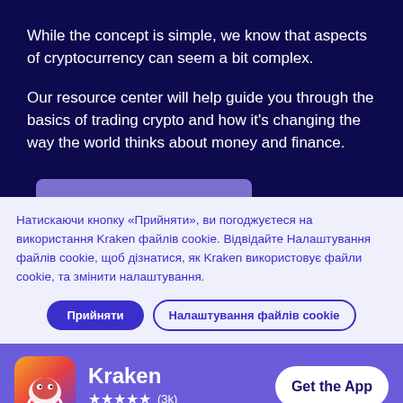While the concept is simple, we know that aspects of cryptocurrency can seem a bit complex.
Our resource center will help guide you through the basics of trading crypto and how it's changing the way the world thinks about money and finance.
Натискаючи кнопку «Прийняти», ви погоджуєтеся на використання Kraken файлів cookie. Відвідайте Налаштування файлів cookie, щоб дізнатися, як Kraken використовує файли cookie, та змінити налаштування.
Прийняти | Налаштування файлів cookie
Kraken ★★★★★ (3k) Get the App